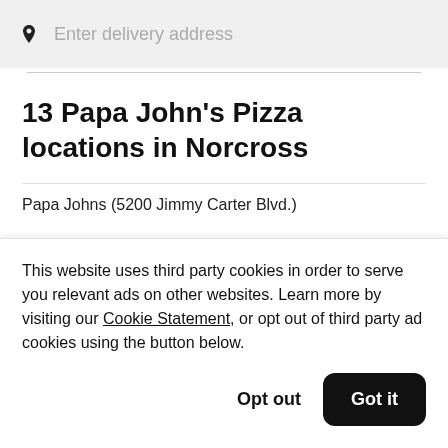Enter delivery address
13 Papa John's Pizza locations in Norcross
Papa Johns (5200 Jimmy Carter Blvd.)
This website uses third party cookies in order to serve you relevant ads on other websites. Learn more by visiting our Cookie Statement, or opt out of third party ad cookies using the button below.